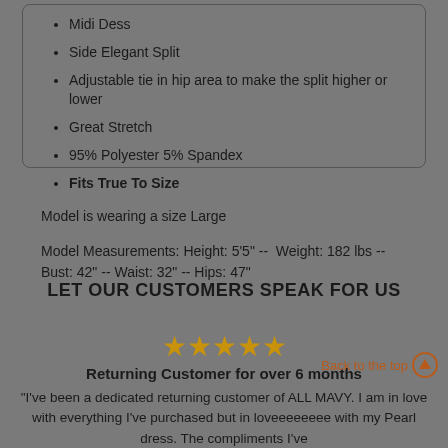Midi Dess
Side Elegant Split
Adjustable tie in hip area to make the split higher or lower
Great Stretch
95% Polyester 5% Spandex
Fits True To Size
Model is wearing a size Large
Model Measurements: Height: 5'5" --  Weight: 182 lbs -- Bust: 42" -- Waist: 32" -- Hips: 47"
LET OUR CUSTOMERS SPEAK FOR US
[Figure (other): Five gold stars rating]
Returning Customer for over 6 months
"I've been a dedicated returning customer of ALL MAVY. I am in love with everything I've purchased but in loveeeeeeee with my Pearl dress. The compliments I've
Back to the top